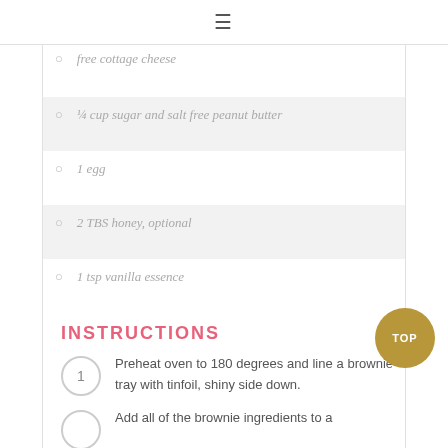≡
free cottage cheese
¼ cup sugar and salt free peanut butter
1 egg
2 TBS honey, optional
1 tsp vanilla essence
INSTRUCTIONS
Preheat oven to 180 degrees and line a brownie tray with tinfoil, shiny side down.
Add all of the brownie ingredients to a